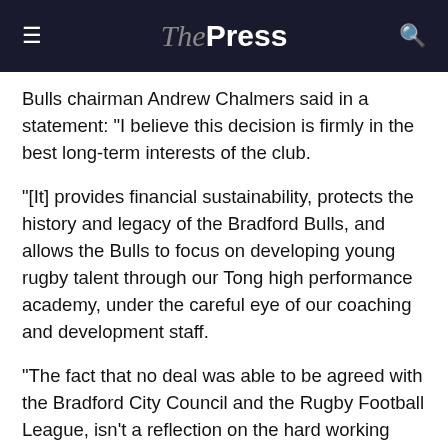The Press
Bulls chairman Andrew Chalmers said in a statement: "I believe this decision is firmly in the best long-term interests of the club.
"[It] provides financial sustainability, protects the history and legacy of the Bradford Bulls, and allows the Bulls to focus on developing young rugby talent through our Tong high performance academy, under the careful eye of our coaching and development staff.
"The fact that no deal was able to be agreed with the Bradford City Council and the Rugby Football League, isn't a reflection on the hard working efforts of the executive officers of both organisations. But the fact remains as I clearly outlined - that doing the same thing